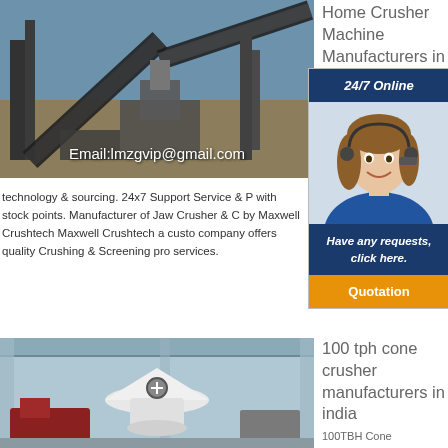[Figure (photo): Industrial crusher plant with conveyor belts and machinery outdoors under blue sky]
Email:lmzgvip@gmail.com
Home Crusher Machine Manufacturers in India
[Figure (infographic): 24/7 Online chat widget with female customer service agent wearing headset, Have any requests, click here. Quotation button]
First... man... 100% technology & sourcing. 24x7 Support Service & P with stock points. Manufacturer of Jaw Crusher & C by Maxwell Crushtech Maxwell Crushtech a custo company offers quality Crushing & Screening pro services.
[Figure (photo): White cone crusher machine inside industrial building]
100 tph cone crusher manufacturers in india
100TBH Cone